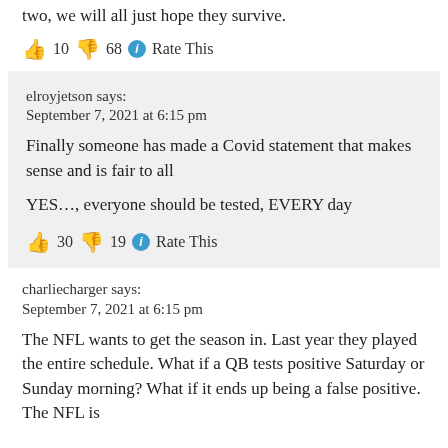two, we will all just hope they survive.
👍 10 👎 68 ℹ Rate This
elroyjetson says:
September 7, 2021 at 6:15 pm

Finally someone has made a Covid statement that makes sense and is fair to all

YES…, everyone should be tested, EVERY day

👍 30 👎 19 ℹ Rate This
charliecharger says:
September 7, 2021 at 6:15 pm

The NFL wants to get the season in. Last year they played the entire schedule. What if a QB tests positive Saturday or Sunday morning? What if it ends up being a false positive. The NFL is doing something they need to do, they should do. I guess we do need